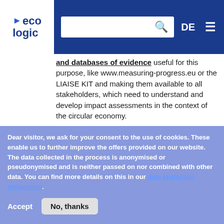eco logic — DE [search] [menu]
and databases of evidence useful for this purpose, like www.measuring-progress.eu or the LIAISE KIT and making them available to all stakeholders, which need to understand and develop impact assessments in the context of the circular economy.
Conduct case studies in different member states and different sectors of the circular economy to understand good practices in the member states and the economic, societal and resource-efficiency impacts of different circular economy processes in comparison to
Dear visitor, we ask for your consent to the use of cookies. These enable us to further improve the offers provided on our website. The data collected in the process is anonymised or pseudonymised and is neither passed on nor combined with other data. You can find more details on this in our data protection declaration.
Accept | No, thanks